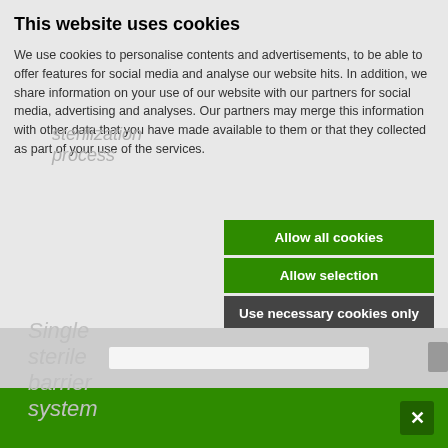This website uses cookies
We use cookies to personalise contents and advertisements, to be able to offer features for social media and analyse our website hits. In addition, we share information on your use of our website with our partners for social media, advertising and analyses. Our partners may merge this information with other data that you have made available to them or that they collected as part of your use of the services.
Allow all cookies
Allow selection
Use necessary cookies only
Necessary  Preferences  Statistics  Marketing  Show details
sterilization process
Single sterile barrier system